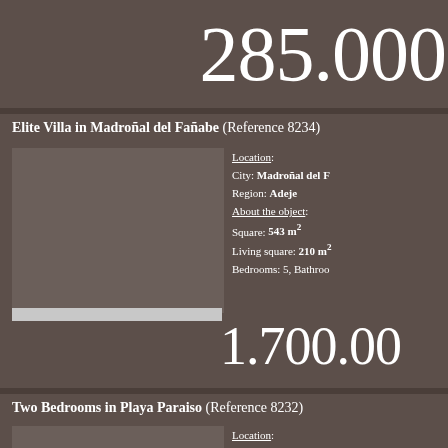285.000
Elite Villa in Madroñal del Fañabe (Reference 8234)
Location:
City: Madroñal del F...
Region: Adeje
About the object:
Square: 543 m²
Living square: 210 m²
Bedrooms: 5, Bathrooms...
1.700.00
Two Bedrooms in Playa Paraiso (Reference 8232)
Location:
City: Playa Paraiso
Region: Adeje
About the object:
Square: 78 m2 m²
Bedrooms: 2, Bathrooms...
157.000